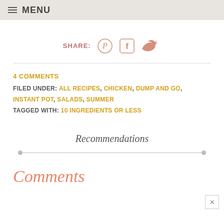MENU
SHARE:
4 COMMENTS
FILED UNDER: ALL RECIPES, CHICKEN, DUMP AND GO, INSTANT POT, SALADS, SUMMER
TAGGED WITH: 10 INGREDIENTS OR LESS
Recommendations
Comments